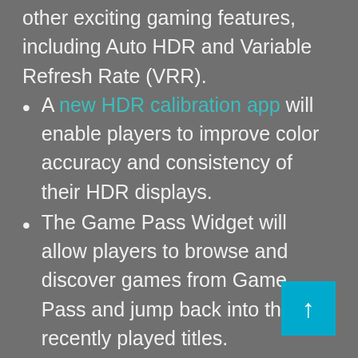other exciting gaming features, including Auto HDR and Variable Refresh Rate (VRR).
A new HDR calibration app will enable players to improve color accuracy and consistency of their HDR displays.
The Game Pass Widget will allow players to browse and discover games from Game Pass and jump back into their recently played titles.
Controller bar features a list of most recent games, and shortcuts to popular game launchers, including the Xbox Controller bar enables players to jump back into their games or even access